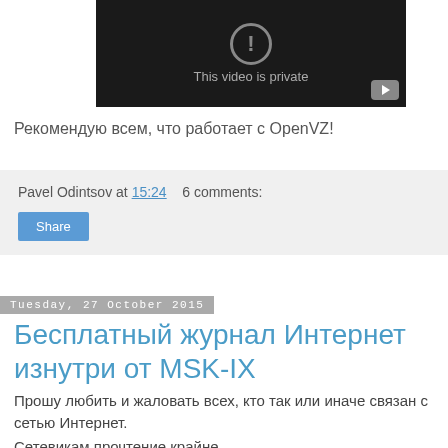[Figure (screenshot): YouTube-style video player showing 'This video is private' message with a dark background and YouTube play button icon in the bottom right corner.]
Рекомендую всем, что работает с OpenVZ!
Pavel Odintsov at 15:24   6 comments:
Share
Tuesday, 27 October 2015
Бесплатный журнал Интернет изнутри от MSK-IX
Прошу любить и жаловать всех, кто так или иначе связан с сетью Интернет.
Сетевикам прочтение крайне